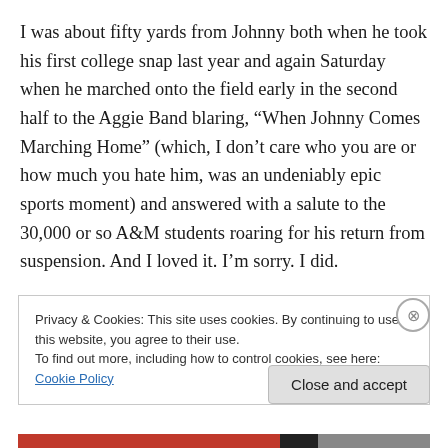I was about fifty yards from Johnny both when he took his first college snap last year and again Saturday when he marched onto the field early in the second half to the Aggie Band blaring, “When Johnny Comes Marching Home” (which, I don’t care who you are or how much you hate him, was an undeniably epic sports moment) and answered with a salute to the 30,000 or so A&M students roaring for his return from suspension. And I loved it. I’m sorry. I did.

Did I also have that weird feeling down in the pit of my
Privacy & Cookies: This site uses cookies. By continuing to use this website, you agree to their use.
To find out more, including how to control cookies, see here: Cookie Policy
Close and accept